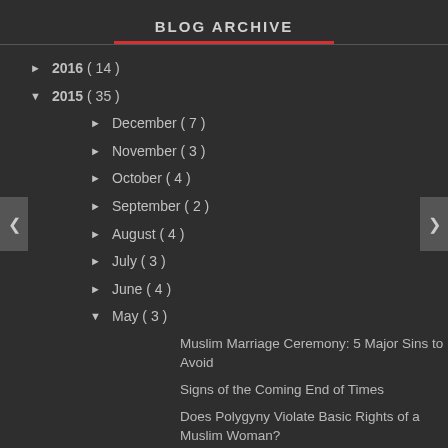BLOG ARCHIVE
► 2016 ( 14 )
▼ 2015 ( 35 )
► December ( 7 )
► November ( 3 )
► October ( 4 )
► September ( 2 )
► August ( 4 )
► July ( 3 )
► June ( 4 )
▼ May ( 3 )
Muslim Marriage Ceremony: 5 Major Sins to Avoid
Signs of the Coming End of Times
Does Polygyny Violate Basic Rights of a Muslim Woman?
► April ( 5 )